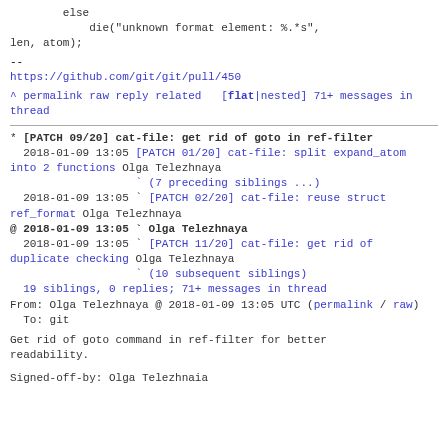else
            die("unknown format element: %.*s",
len, atom);
--
https://github.com/git/git/pull/450
^ permalink raw reply related   [flat|nested] 71+ messages in thread
* [PATCH 09/20] cat-file: get rid of goto in ref-filter
  2018-01-09 13:05 [PATCH 01/20] cat-file: split expand_atom into 2 functions Olga Telezhnaya
                   ` (7 preceding siblings ...)
  2018-01-09 13:05 ` [PATCH 02/20] cat-file: reuse struct ref_format Olga Telezhnaya
@ 2018-01-09 13:05 ` Olga Telezhnaya
  2018-01-09 13:05 ` [PATCH 11/20] cat-file: get rid of duplicate checking Olga Telezhnaya
                   ` (10 subsequent siblings)
  19 siblings, 0 replies; 71+ messages in thread
From: Olga Telezhnaya @ 2018-01-09 13:05 UTC (permalink / raw)
  To: git
Get rid of goto command in ref-filter for better readability.
Signed-off-by: Olga Telezhnaia